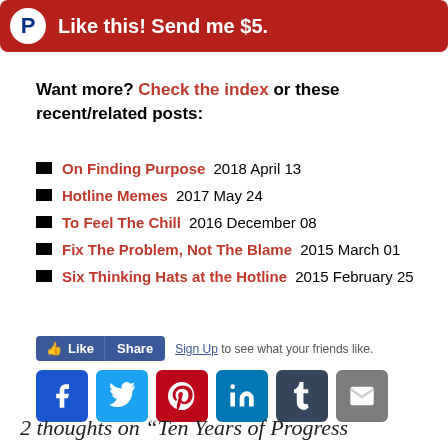[Figure (other): PayPal donation banner with red background showing PayPal logo and text 'Like this! Send me $5.']
Want more? Check the index or these recent/related posts:
On Finding Purpose 2018 April 13
Hotline Memes 2017 May 24
To Feel The Chill 2016 December 08
Fix The Problem, Not The Blame 2015 March 01
Six Thinking Hats at the Hotline 2015 February 25
[Figure (other): Facebook Like and Share buttons with Sign Up link]
[Figure (other): Social media icons: Facebook, Twitter, Pinterest, LinkedIn, Tumblr, Email]
2 thoughts on “Ten Years of Progress